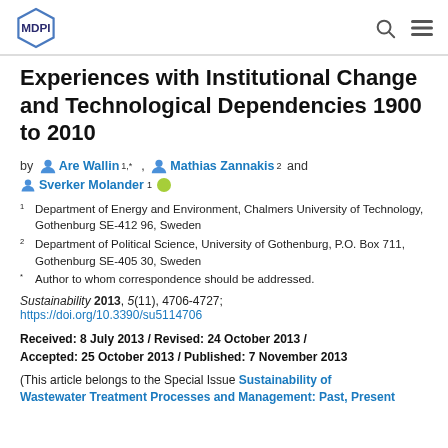MDPI
Experiences with Institutional Change and Technological Dependencies 1900 to 2010
by Are Wallin 1,* , Mathias Zannakis 2 and Sverker Molander 1
1 Department of Energy and Environment, Chalmers University of Technology, Gothenburg SE-412 96, Sweden
2 Department of Political Science, University of Gothenburg, P.O. Box 711, Gothenburg SE-405 30, Sweden
* Author to whom correspondence should be addressed.
Sustainability 2013, 5(11), 4706-4727; https://doi.org/10.3390/su5114706
Received: 8 July 2013 / Revised: 24 October 2013 / Accepted: 25 October 2013 / Published: 7 November 2013
(This article belongs to the Special Issue Sustainability of Wastewater Treatment Processes and Management: Past, Present